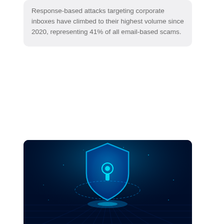Response-based attacks targeting corporate inboxes have climbed to their highest volume since 2020, representing 41% of all email-based scams.
[Figure (photo): Dark cyberpunk digital background with a glowing blue shield icon featuring a keyhole in the center, surrounded by a glowing ring, on a dark grid-lit surface suggesting a digital/cyber security concept.]
DEVOPS
Dynatrace extends application security capabilities for runtime environments